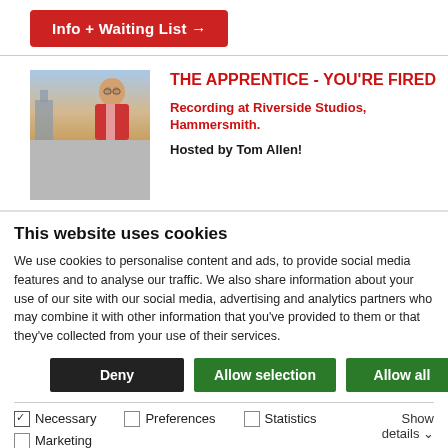Info + Waiting List →
[Figure (photo): Show thumbnail for The Apprentice - You're Fired, showing a bald man in a suit against a sky background, image displayed inside a grey card/frame]
THE APPRENTICE - YOU'RE FIRED
Recording at Riverside Studios, Hammersmith.
Hosted by Tom Allen!
This website uses cookies
We use cookies to personalise content and ads, to provide social media features and to analyse our traffic. We also share information about your use of our site with our social media, advertising and analytics partners who may combine it with other information that you've provided to them or that they've collected from your use of their services.
Deny
Allow selection
Allow all
Necessary   Preferences   Statistics   Marketing   Show details